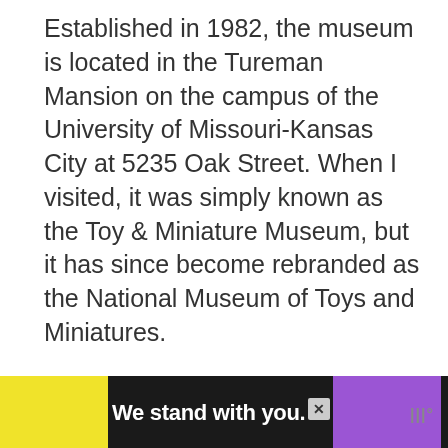Established in 1982, the museum is located in the Tureman Mansion on the campus of the University of Missouri-Kansas City at 5235 Oak Street. When I visited, it was simply known as the Toy & Miniature Museum, but it has since become rebranded as the National Museum of Toys and Miniatures.
As of this writing, the building is open from 10 to 4 Wednesday through Saturday and 1 to 4 on Sunday. Admission price is $8 for adults, $7 for seniors, and $5 for students.
[Figure (other): Advertisement banner at bottom of page. Black background with yellow block on left. Text 'We stand with you.' in white bold font. Purple block in center-right area. Close button (X) and logo mark on right.]